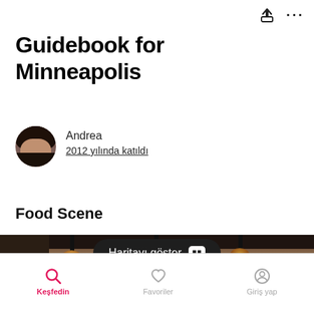[Figure (screenshot): Top navigation bar with share icon and more (ellipsis) icon]
Guidebook for Minneapolis
[Figure (photo): Circular profile photo of Andrea, a woman with dark hair]
Andrea
2012 yılında katıldı
Food Scene
[Figure (screenshot): Dark pill-shaped button overlay reading 'Haritayı göster' with a map/grid icon, overlaying a restaurant interior photo with hanging pendant lights]
Keşfedin  Favoriler  Giriş yap